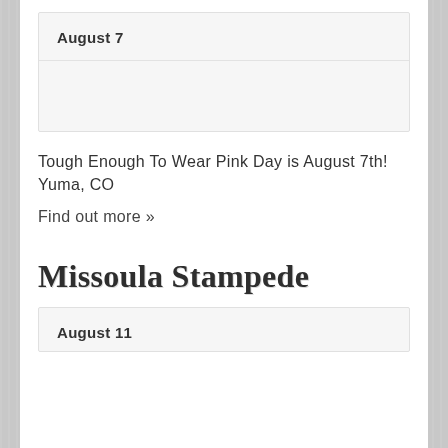August 7
Tough Enough To Wear Pink Day is August 7th! Yuma, CO
Find out more »
Missoula Stampede
August 11